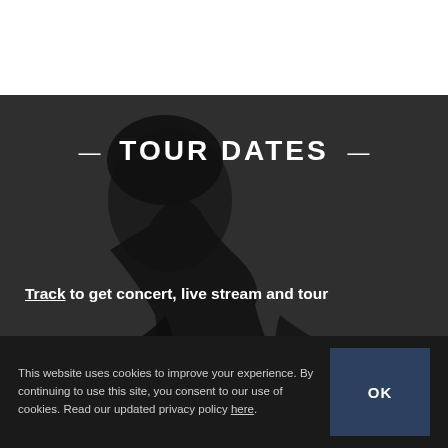[Figure (photo): Dark grayscale photo of a person's silhouette against a textured dark background, occupying the lower portion of the page]
— TOUR DATES —
Track to get concert, live stream and tour
This website uses cookies to improve your experience. By continuing to use this site, you consent to our use of cookies. Read our updated privacy policy here.
OK